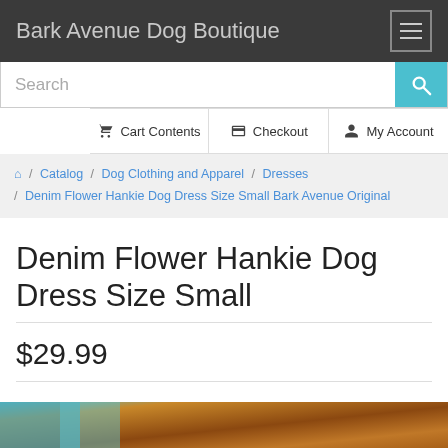Bark Avenue Dog Boutique
Search
Cart Contents  Checkout  My Account
Home / Catalog / Dog Clothing and Apparel / Dresses / Denim Flower Hankie Dog Dress Size Small Bark Avenue Original
Denim Flower Hankie Dog Dress Size Small
$29.99
[Figure (photo): Bottom portion of product photo showing a dog wearing the denim flower dress]